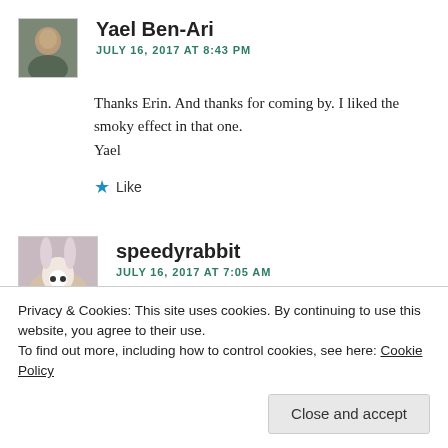Yael Ben-Ari
JULY 16, 2017 AT 8:43 PM
Thanks Erin. And thanks for coming by. I liked the smoky effect in that one.
Yael
★ Like
speedyrabbit
JULY 16, 2017 AT 7:05 AM
Privacy & Cookies: This site uses cookies. By continuing to use this website, you agree to their use.
To find out more, including how to control cookies, see here: Cookie Policy
Close and accept